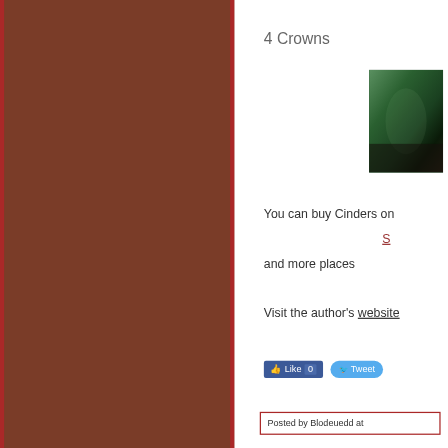[Figure (other): Brown/reddish-brown book cover panel on the left side of the page with red border lines]
4 Crowns
[Figure (photo): Small thumbnail photo of a book cover showing a green tinted scene]
You can buy Cinders on
S[mashwords]
and more places
Visit the author's website
[Figure (infographic): Facebook Like button showing Like 0, and Twitter Tweet button]
Posted by Blodeuedd at